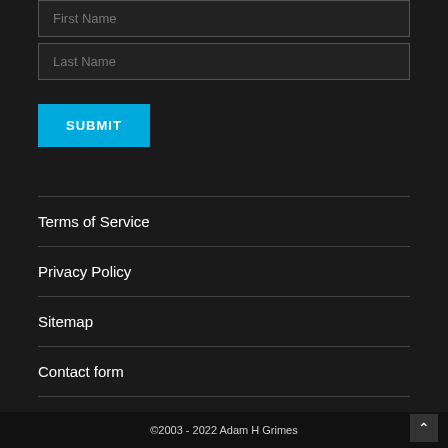First Name
Last Name
SUBMIT
Terms of Service
Privacy Policy
Sitemap
Contact form
©2003 - 2022 Adam H Grimes